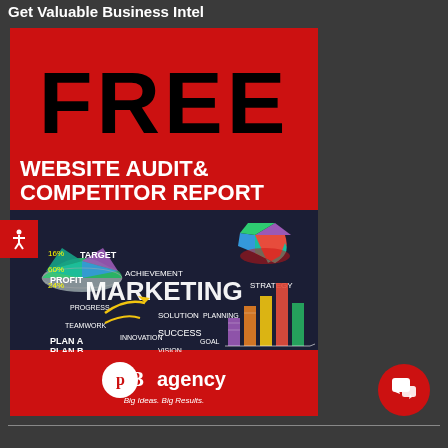Get Valuable Business Intel
[Figure (illustration): Advertisement for P3 Agency offering a Free Website Audit & Competitor Report. Features bold black text 'FREE' on red background, subtitle 'WEBSITE AUDIT & COMPETITOR REPORT', a marketing concept photo with charts and business terms (Target, Achievement, Marketing, Strategy, Profit, Solution, Progress, Success, Plan A, Plan B, Innovation, Vision, Goal, Teamwork, Planning), and P3 Agency logo with tagline 'Big Ideas. Big Results.']
P3agency — Big Ideas. Big Results.